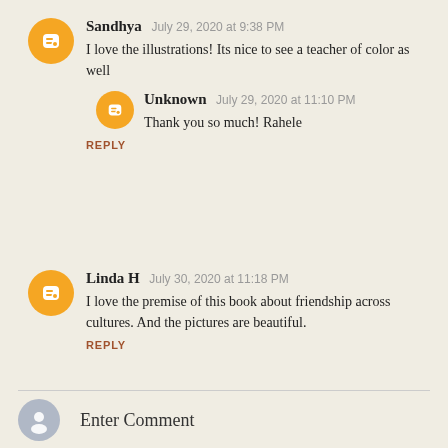Sandhya  July 29, 2020 at 9:38 PM
I love the illustrations! Its nice to see a teacher of color as well
Unknown  July 29, 2020 at 11:10 PM
Thank you so much! Rahele
REPLY
Linda H  July 30, 2020 at 11:18 PM
I love the premise of this book about friendship across cultures. And the pictures are beautiful.
REPLY
Enter Comment